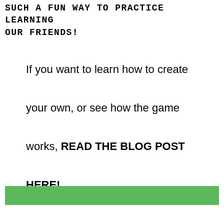SUCH A FUN WAY TO PRACTICE LEARNING OUR FRIENDS!
If you want to learn how to create your own, or see how the game works, READ THE BLOG POST HERE!
[Figure (other): A solid green horizontal bar/banner element at the bottom of the page]